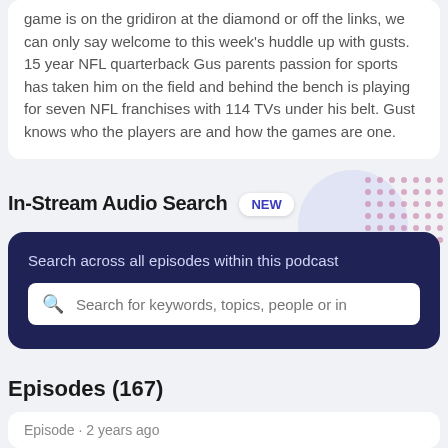game is on the gridiron at the diamond or off the links, we can only say welcome to this week's huddle up with gusts. 15 year NFL quarterback Gus parents passion for sports has taken him on the field and behind the bench is playing for seven NFL franchises with 114 TVs under his belt. Gust knows who the players are and how the games are one.
In-Stream Audio Search
NEW
Search across all episodes within this podcast
Search for keywords, topics, people or in
Episodes (167)
Episode · 2 years ago